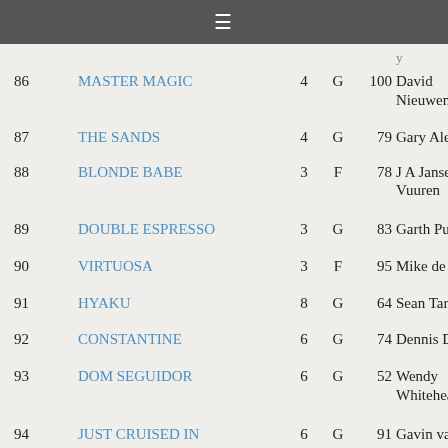≡
| # | Name | N | G | Pts | Trainer |
| --- | --- | --- | --- | --- | --- |
| 86 | MASTER MAGIC | 4 | G | 100 | David Nieuwenhuizen |
| 87 | THE SANDS | 4 | G | 79 | Gary Alexander |
| 88 | BLONDE BABE | 3 | F | 78 | J A Janse van Vuuren |
| 89 | DOUBLE ESPRESSO | 3 | G | 83 | Garth Puller |
| 90 | VIRTUOSA | 3 | F | 95 | Mike de Kock |
| 91 | HYAKU | 8 | G | 64 | Sean Tarry |
| 92 | CONSTANTINE | 6 | G | 74 | Dennis Drier |
| 93 | DOM SEGUIDOR | 6 | G | 52 | Wendy Whitehead |
| 94 | JUST CRUISED IN | 6 | G | 91 | Gavin van Zyl |
| 95 | MATADOR MAN | 6 | G | 121 | Sean Tarry |
| 96 | MISSIBABA | 6 | M | 70 | Bill Human |
| 97 | ... | ... | ... | ... | Gary |